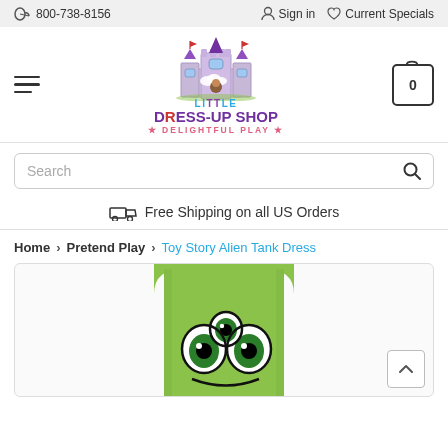800-738-8156  Sign in  Current Specials
[Figure (logo): Little Dress-Up Shop logo with castle illustration. Text reads: LiTTLE DRESS-UP SHOP * DELIGHTFUL PLAY *]
Search
Free Shipping on all US Orders
Home > Pretend Play > Toy Story Alien Tank Dress
[Figure (photo): Toy Story Alien Tank Dress product image showing bright green sleeveless dress with alien face (three eyes) graphic on front]